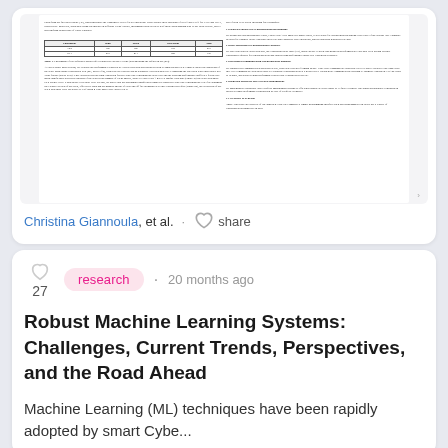[Figure (screenshot): Thumbnail preview of a research paper page showing two-column academic text with a table]
Christina Giannoula, et al. · share
research · 20 months ago
Robust Machine Learning Systems: Challenges, Current Trends, Perspectives, and the Road Ahead
Machine Learning (ML) techniques have been rapidly adopted by smart Cybe...